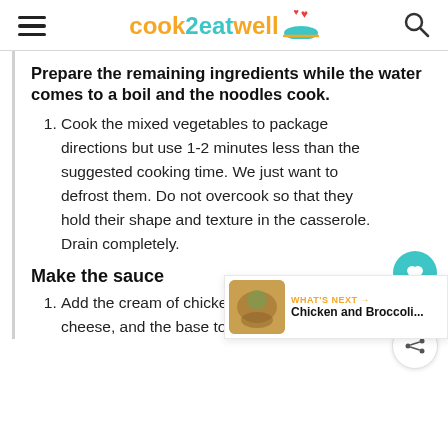cook2eatwell
Prepare the remaining ingredients while the water comes to a boil and the noodles cook.
Cook the mixed vegetables to package directions but use 1-2 minutes less than the suggested cooking time. We just want to defrost them. Do not overcook so that they hold their shape and texture in the casserole. Drain completely.
Make the sauce
Add the cream of chicken soup, broth, shredded cheese, and the base to a large saucepan. Heat over